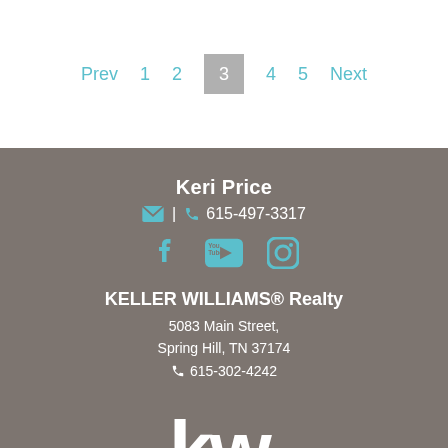Prev  1  2  3  4  5  Next
Keri Price
✉ | ☎ 615-497-3317
[Figure (infographic): Social media icons: Facebook, YouTube, Instagram]
KELLER WILLIAMS® Realty
5083 Main Street,
Spring Hill, TN 37174
☎ 615-302-4242
[Figure (logo): Keller Williams kw logo in white on gray background]